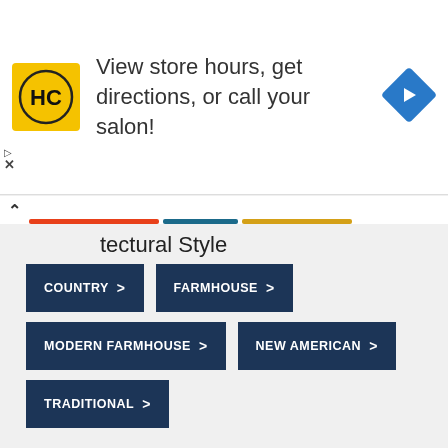[Figure (other): HC salon advertisement banner with yellow logo, text 'View store hours, get directions, or call your salon!' and blue diamond navigation arrow]
tectural Style
COUNTRY >
FARMHOUSE >
MODERN FARMHOUSE >
NEW AMERICAN >
TRADITIONAL >
Special Features
BEDROOMS - SPLIT >
BUTLER WALK-IN PANTRY >
DEN-OFFICE-LIBRARY-STUDY >
IN-LAW SUITE >